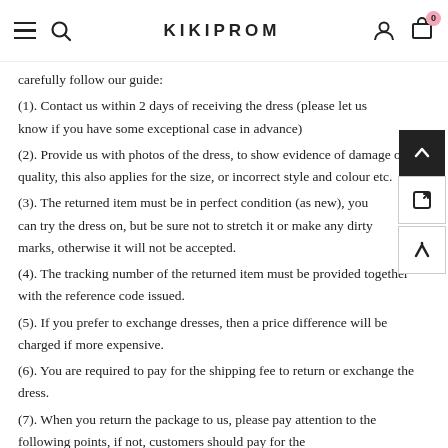KIKIPROM
carefully follow our guide:
(1). Contact us within 2 days of receiving the dress (please let us know if you have some exceptional case in advance)
(2). Provide us with photos of the dress, to show evidence of damage or bad quality, this also applies for the size, or incorrect style and colour etc.
(3). The returned item must be in perfect condition (as new), you can try the dress on, but be sure not to stretch it or make any dirty marks, otherwise it will not be accepted.
(4). The tracking number of the returned item must be provided together with the reference code issued.
(5). If you prefer to exchange dresses, then a price difference will be charged if more expensive.
(6). You are required to pay for the shipping fee to return or exchange the dress.
(7). When you return the package to us, please pay attention to the following points, if not, customers should pay for the